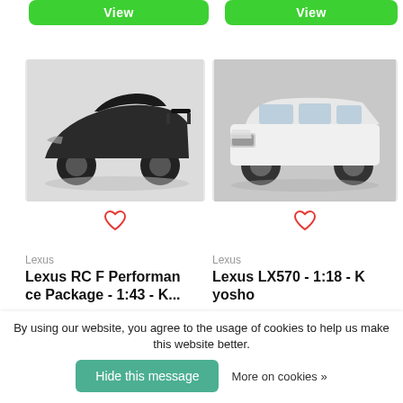[Figure (screenshot): Green 'View' button on the left]
[Figure (screenshot): Green 'View' button on the right]
[Figure (photo): Photo of a black Lexus RC F Performance Package 1:43 scale model car]
[Figure (photo): Photo of a white Lexus LX570 1:18 scale model car (Kyosho)]
Lexus
Lexus RC F Performance Package - 1:43 - K...
Lexus
Lexus LX570 - 1:18 - Kyosho
By using our website, you agree to the usage of cookies to help us make this website better.
Hide this message
More on cookies »